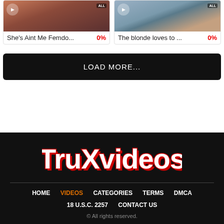[Figure (screenshot): Two video thumbnail cards: left card shows 'She's Aint Me Femdo...' with 0% rating, right card shows 'The blonde loves to ...' with 0% rating]
LOAD MORE...
[Figure (logo): TruXvideos logo in white distressed horror-style font with red shadow on black background]
HOME  VIDEOS  CATEGORIES  TERMS  DMCA  18 U.S.C. 2257  CONTACT US  © All rights reserved.